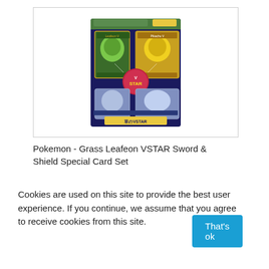[Figure (photo): Pokemon - Grass Leafeon VSTAR Sword & Shield Special Card Set product packaging, showing a dark blue box with Pokemon cards featuring Leafeon and Pikachu on top half, and Arceus-like Pokemon on bottom half, with VSTAR logo in center]
Pokemon - Grass Leafeon VSTAR Sword & Shield Special Card Set
Cookies are used on this site to provide the best user experience. If you continue, we assume that you agree to receive cookies from this site.